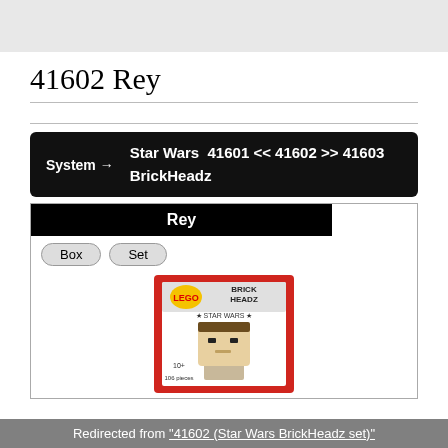41602 Rey
System → Star Wars 41601 << 41602 >> 41603 BrickHeadz
[Figure (photo): LEGO BrickHeadz 41602 Rey product box image showing the box art with Rey character figure]
Redirected from "41602 (Star Wars BrickHeadz set)"